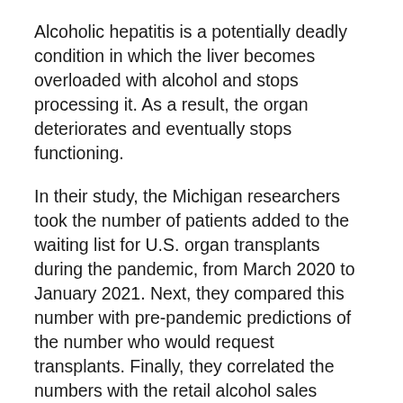Alcoholic hepatitis is a potentially deadly condition in which the liver becomes overloaded with alcohol and stops processing it. As a result, the organ deteriorates and eventually stops functioning.
In their study, the Michigan researchers took the number of patients added to the waiting list for U.S. organ transplants during the pandemic, from March 2020 to January 2021. Next, they compared this number with pre-pandemic predictions of the number who would request transplants. Finally, they correlated the numbers with the retail alcohol sales figures between January 2016 and January 2021. They found that the rising alcohol sales, indicating that people were drinking more, correlated to the spike in liver transplant requests.
Their connection of the three statistics is